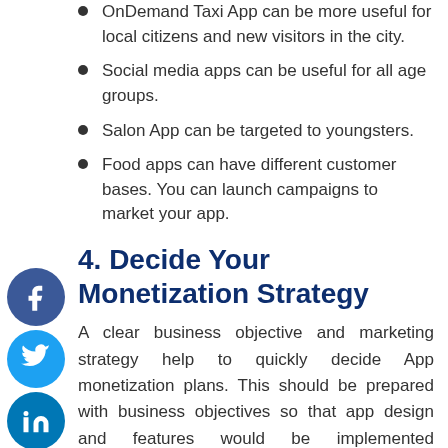OnDemand Taxi App can be more useful for local citizens and new visitors in the city.
Social media apps can be useful for all age groups.
Salon App can be targeted to youngsters.
Food apps can have different customer bases. You can launch campaigns to market your app.
4. Decide Your Monetization Strategy
A clear business objective and marketing strategy help to quickly decide App monetization plans. This should be prepared with business objectives so that app design and features would be implemented accordingly. Monetization